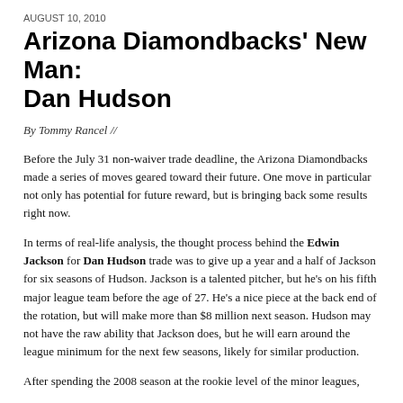AUGUST 10, 2010
Arizona Diamondbacks' New Man: Dan Hudson
By Tommy Rancel //
Before the July 31 non-waiver trade deadline, the Arizona Diamondbacks made a series of moves geared toward their future. One move in particular not only has potential for future reward, but is bringing back some results right now.
In terms of real-life analysis, the thought process behind the Edwin Jackson for Dan Hudson trade was to give up a year and a half of Jackson for six seasons of Hudson. Jackson is a talented pitcher, but he's on his fifth major league team before the age of 27. He's a nice piece at the back end of the rotation, but will make more than $8 million next season. Hudson may not have the raw ability that Jackson does, but he will earn around the league minimum for the next few seasons, likely for similar production.
After spending the 2008 season at the rookie level of the minor leagues,